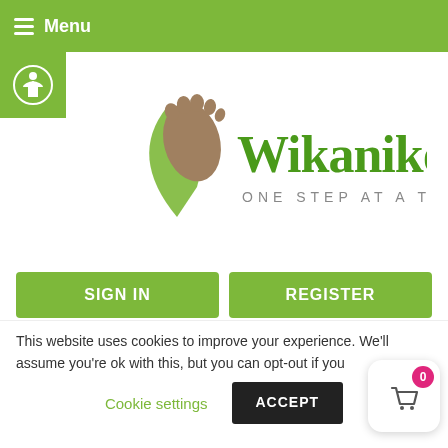≡ Menu
[Figure (logo): Wikaniko logo with a green leaf and brown foot print, text reads 'Wikaniko ONE STEP AT A TIME']
SIGN IN
REGISTER
Search ...
Home » Shop » Happy-Flex Combination – Joint & Connective Tissue Formula
This website uses cookies to improve your experience. We'll assume you're ok with this, but you can opt-out if you
Cookie settings
ACCEPT